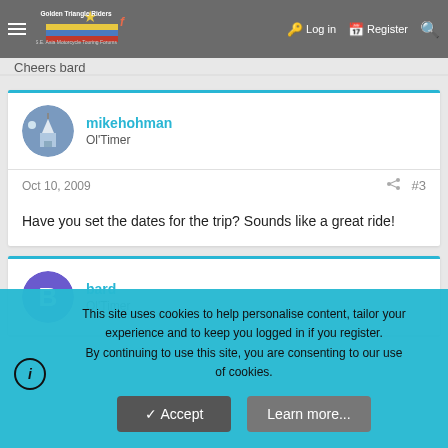cambodia give a signal so we can prepare for it. [navigation bar: Golden Triangle Riders | Log in | Register | Search]
Cheers bard
[Figure (other): Golden Triangle Riders forum logo with star and colored bands]
mikehohman
Ol'Timer
Oct 10, 2009  #3
Have you set the dates for the trip? Sounds like a great ride!
bard
Ol'Timer
This site uses cookies to help personalise content, tailor your experience and to keep you logged in if you register.
By continuing to use this site, you are consenting to our use of cookies.
Accept  Learn more...